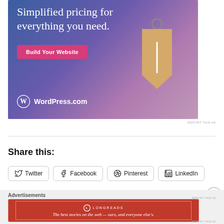[Figure (illustration): WordPress.com advertisement banner with gradient blue-purple background, text 'Simplified pricing for everything you need.', a pink 'Build Your Website' button, a decorative price tag graphic, and the WordPress.com logo at the bottom left.]
REPORT THIS AD
Share this:
Twitter
Facebook
Pinterest
LinkedIn
Advertisements
[Figure (illustration): Longreads advertisement banner with red background, Longreads logo, and text 'The best stories on the web — ours, and everyone else's.']
REPORT THIS AD